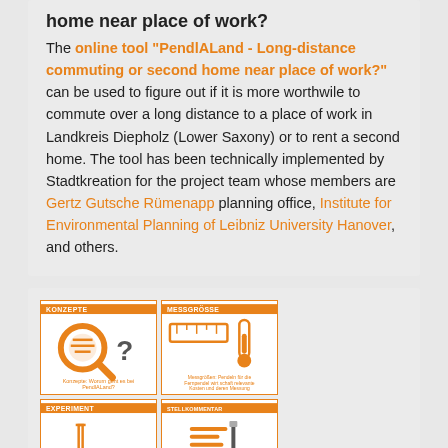home near place of work?
The online tool "PendlALand - Long-distance commuting or second home near place of work?" can be used to figure out if it is more worthwile to commute over a long distance to a place of work in Landkreis Diepholz (Lower Saxony) or to rent a second home. The tool has been technically implemented by Stadtkreation for the project team whose members are Gertz Gutsche Rümenapp planning office, Institute for Environmental Planning of Leibniz University Hanover, and others.
[Figure (screenshot): Screenshot of the PendlALand online tool showing a 2x2 grid interface with four sections: Konzepte (concept/magnifying glass icon), Messgrößte (measurement tools/thermometer icon), Experiment (laboratory flask/experiment icon), and Stellkommentar (comment/list icon). Each section has orange icons and brief German descriptions.]